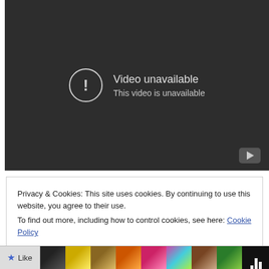[Figure (screenshot): YouTube video player showing 'Video unavailable' error message with a circle exclamation icon and YouTube logo in bottom right corner on dark background]
Privacy & Cookies: This site uses cookies. By continuing to use this website, you agree to their use.
To find out more, including how to control cookies, see here: Cookie Policy
Close and accept